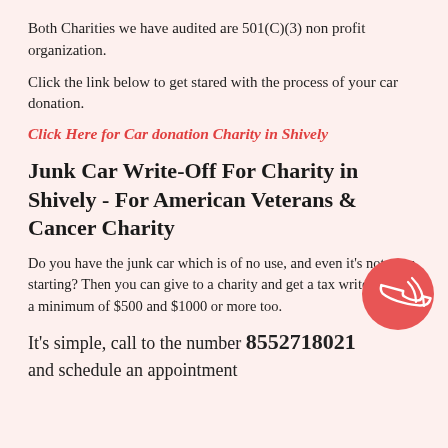Both Charities we have audited are 501(C)(3) non profit organization.
Click the link below to get stared with the process of your car donation.
Click Here for Car donation Charity in Shively
Junk Car Write-Off For Charity in Shively - For American Veterans & Cancer Charity
Do you have the junk car which is of no use, and even it's not even starting? Then you can give to a charity and get a tax write-off for a minimum of $500 and $1000 or more too.
It's simple, call to the number 8552718021 and schedule an appointment